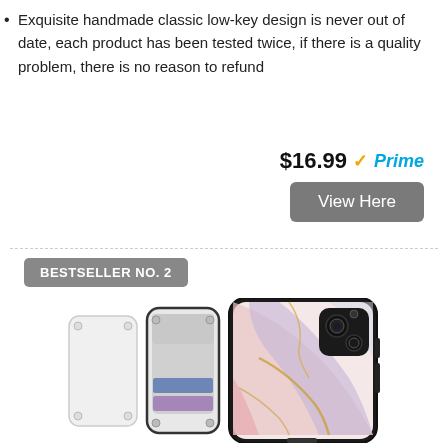Exquisite handmade classic low-key design is never out of date, each product has been tested twice, if there is a quality problem, there is no reason to refund
$16.99 ✓Prime
View Here
BESTSELLER NO. 2
[Figure (photo): Product photo showing two iPhone cases: one open wallet-style case in white showing card slots, and one marble-patterned case with pink, blue and gold swirl design]